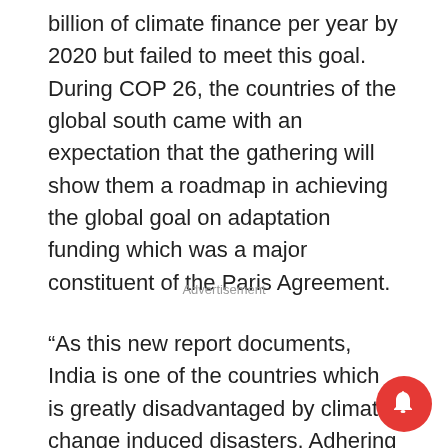billion of climate finance per year by 2020 but failed to meet this goal. During COP 26, the countries of the global south came with an expectation that the gathering will show them a roadmap in achieving the global goal on adaptation funding which was a major constituent of the Paris Agreement.
Advertisement
“As this new report documents, India is one of the countries which is greatly disadvantaged by climate change induced disasters. Adhering to the principles of climate justice, the countries of the global south must call for technology transfer and